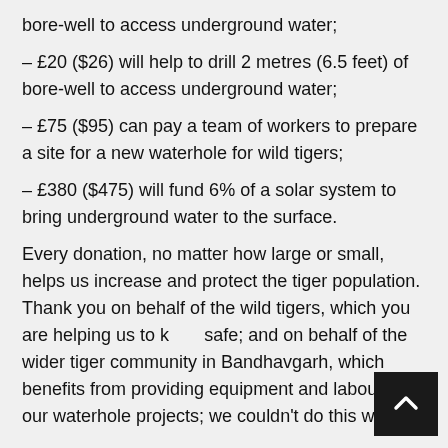bore-well to access underground water;
– £20 ($26) will help to drill 2 metres (6.5 feet) of bore-well to access underground water;
– £75 ($95) can pay a team of workers to prepare a site for a new waterhole for wild tigers;
– £380 ($475) will fund 6% of a solar system to bring underground water to the surface.
Every donation, no matter how large or small, helps us increase and protect the tiger population. Thank you on behalf of the wild tigers, which you are helping us to keep safe; and on behalf of the wider tiger community in Bandhavgarh, which benefits from providing equipment and labour for our waterhole projects; we couldn't do this without